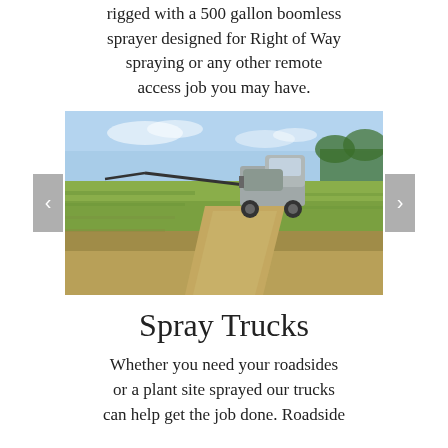rigged with a 500 gallon boomless sprayer designed for Right of Way spraying or any other remote access job you may have.
[Figure (photo): A pickup truck with a sprayer boom attachment driving along a dirt path through a green field with blue sky overhead. Navigation arrows on left and right sides of the image.]
Spray Trucks
Whether you need your roadsides or a plant site sprayed our trucks can help get the job done. Roadside